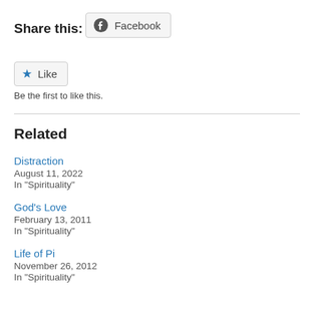Share this:
Facebook
Like
Be the first to like this.
Related
Distraction
August 11, 2022
In "Spirituality"
God's Love
February 13, 2011
In "Spirituality"
Life of Pi
November 26, 2012
In "Spirituality"